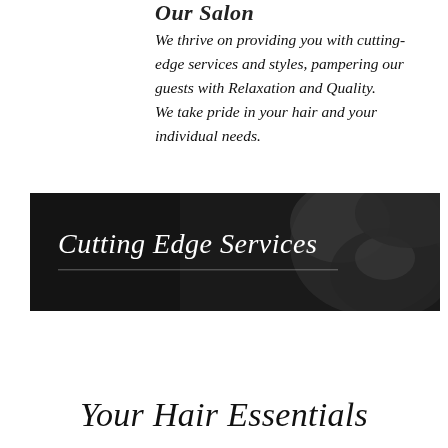Our Salon
We thrive on providing you with cutting-edge services and styles, pampering our guests with Relaxation and Quality.
We take pride in your hair and your individual needs.
[Figure (photo): Black and white photo banner of a person styling hair with text 'Cutting Edge Services' overlaid in italic white serif font, with a thin horizontal line beneath the text.]
Your Hair Essentials